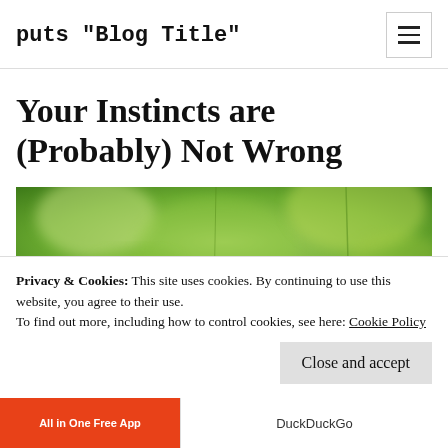puts "Blog Title"
Your Instincts are (Probably) Not Wrong
[Figure (photo): Blurred green bokeh nature background photo]
Privacy & Cookies: This site uses cookies. By continuing to use this website, you agree to their use.
To find out more, including how to control cookies, see here: Cookie Policy
Close and accept